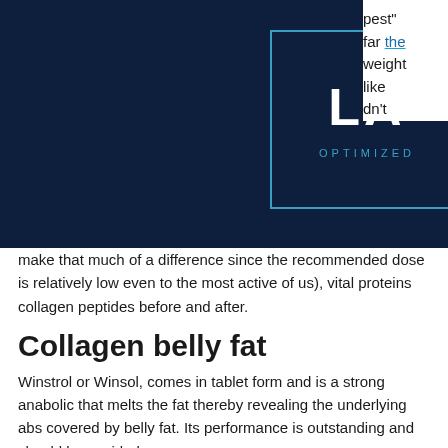[Figure (logo): LA Optimized logo: white letters 'LA' in a cyan-bordered box on dark navy background, with 'OPTIMIZED' in cyan below]
best" far the weight like don't make that much of a difference since the recommended dose is relatively low even to the most active of us), vital proteins collagen peptides before and after.
Collagen belly fat
Winstrol or Winsol, comes in tablet form and is a strong anabolic that melts the fat thereby revealing the underlying abs covered by belly fat. Its performance is outstanding and should be avoided.
The only advantage you get out of this pill is the extra strength it provides. Some say that this pill also helps to keep the appetite down if you need it, can collagen peptides help with weight loss. It's not a pill to add to your